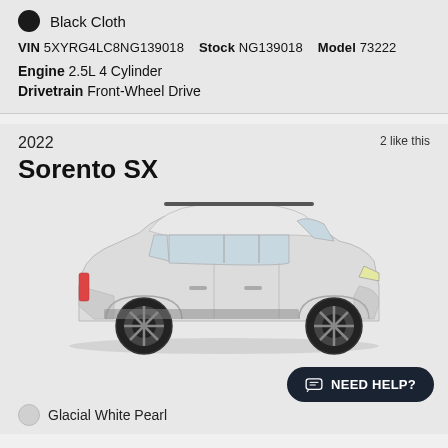Black Cloth
VIN 5XYRG4LC8NG139018   Stock NG139018   Model 73222
Engine 2.5L 4 Cylinder
Drivetrain Front-Wheel Drive
2 like this
2022
Sorento SX
[Figure (photo): Side profile view of a white 2022 Kia Sorento SX SUV on a gray background]
NEED HELP?
Glacial White Pearl